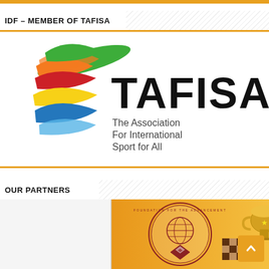IDF – MEMBER OF TAFISA
[Figure (logo): TAFISA logo with colorful wave design (green, orange, red, yellow, blue waves forming a circle) and text 'TAFISA' in large black bold font, with subtitle 'The Association For International Sport for All']
OUR PARTNERS
[Figure (photo): Partner organization image showing a foundation logo with chess board and globe design, a gold trophy cup, a checkerboard pattern, and chess pieces on an orange/yellow background]